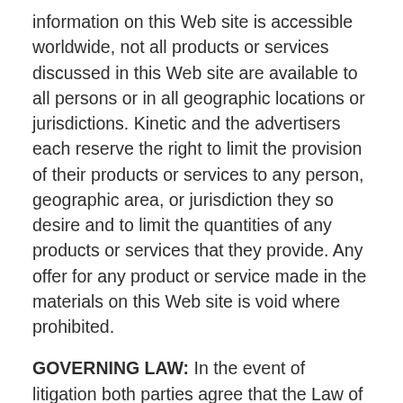information on this Web site is accessible worldwide, not all products or services discussed in this Web site are available to all persons or in all geographic locations or jurisdictions. Kinetic and the advertisers each reserve the right to limit the provision of their products or services to any person, geographic area, or jurisdiction they so desire and to limit the quantities of any products or services that they provide. Any offer for any product or service made in the materials on this Web site is void where prohibited.
GOVERNING LAW: In the event of litigation both parties agree that the Law of the State of business registration of Kinetic shall apply and both parties shall consent to the jurisdiction of said State's courts, or in the event of diversity of citizenship, the United States District Court for the (District). Both parties agree to waive trial by...